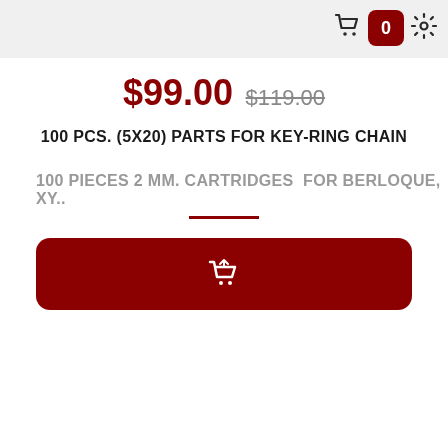$99.00 $119.00
100 PCS. (5X20) PARTS FOR KEY-RING CHAIN
100 PIECES 2 MM. CARTRIDGES  FOR BERLOQUE, XY..
[Figure (other): Add to cart button with shopping cart icon, dark red background with rounded corners]